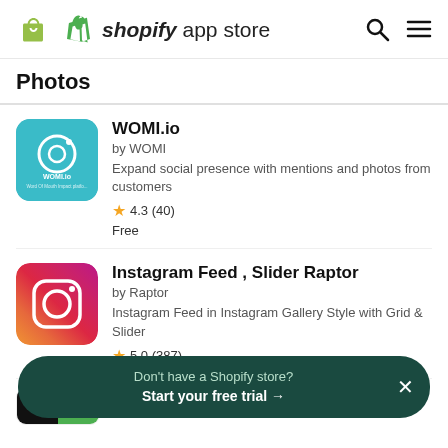shopify app store
Photos
WOMI.io
by WOMI
Expand social presence with mentions and photos from customers
4.3 (40)
Free
Instagram Feed , Slider Raptor
by Raptor
Instagram Feed in Instagram Gallery Style with Grid & Slider
5.0 (387)
by helpy
Don't have a Shopify store? Start your free trial →